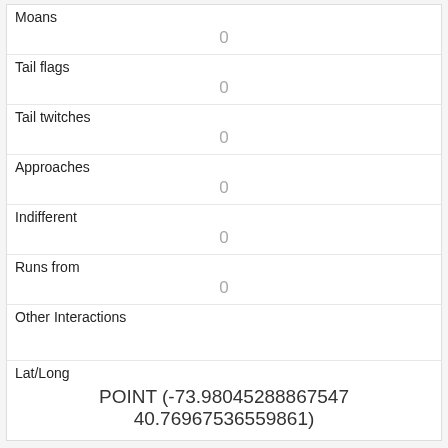| Moans | 0 |
| Tail flags | 0 |
| Tail twitches | 0 |
| Approaches | 0 |
| Indifferent | 0 |
| Runs from | 0 |
| Other Interactions |  |
| Lat/Long | POINT (-73.98045288867547 40.76967536559861) |
| Link | 71 |
| rowid | 71 |